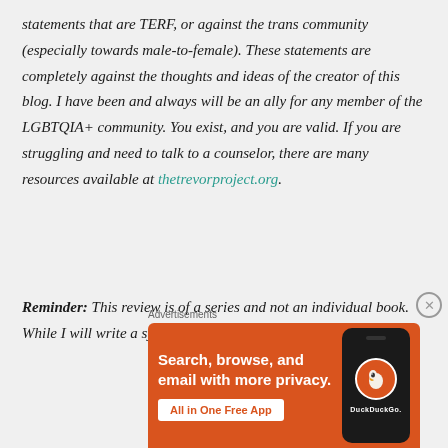statements that are TERF, or against the trans community (especially towards male-to-female). These statements are completely against the thoughts and ideas of the creator of this blog. I have been and always will be an ally for any member of the LGBTQIA+ community. You exist, and you are valid. If you are struggling and need to talk to a counselor, there are many resources available at thetrevorproject.org.
Reminder: This review is of a series and not an individual book. While I will write a synopsis for each
[Figure (screenshot): DuckDuckGo advertisement banner with orange background. Text reads 'Search, browse, and email with more privacy. All in One Free App' with DuckDuckGo logo and phone image on the right.]